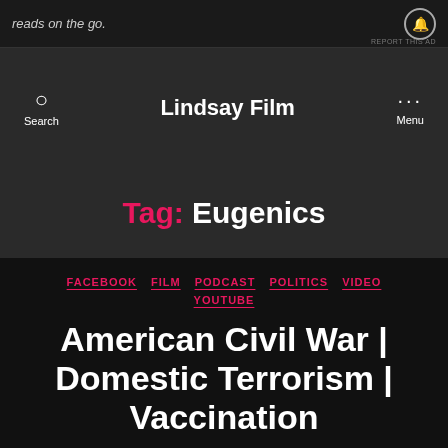reads on the go.   REPORT THIS AD
Lindsay Film   Search   Menu
Tag: Eugenics
FACEBOOK   FILM   PODCAST   POLITICS   VIDEO   YOUTUBE
American Civil War | Domestic Terrorism | Vaccination